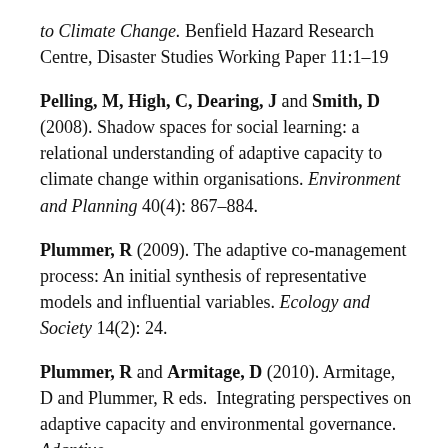to Climate Change. Benfield Hazard Research Centre, Disaster Studies Working Paper 11:1–19
Pelling, M, High, C, Dearing, J and Smith, D (2008). Shadow spaces for social learning: a relational understanding of adaptive capacity to climate change within organisations. Environment and Planning 40(4): 867–884.
Plummer, R (2009). The adaptive co-management process: An initial synthesis of representative models and influential variables. Ecology and Society 14(2): 24.
Plummer, R and Armitage, D (2010). Armitage, D and Plummer, R eds. Integrating perspectives on adaptive capacity and environmental governance. Adaptive